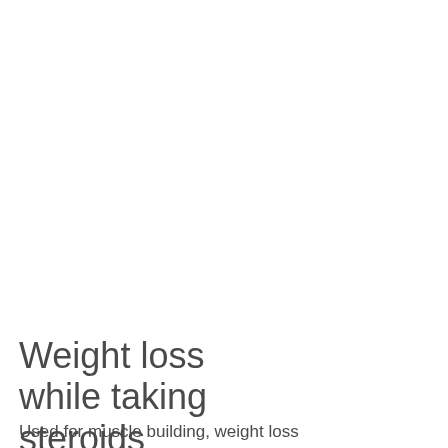Weight loss while taking steroids
Used for muscle building, weight loss and